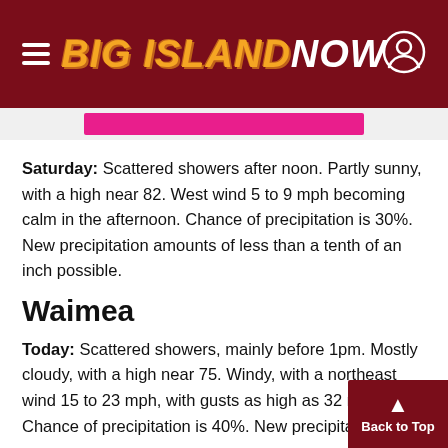BIG ISLAND NOW
Saturday: Scattered showers after noon. Partly sunny, with a high near 82. West wind 5 to 9 mph becoming calm in the afternoon. Chance of precipitation is 30%. New precipitation amounts of less than a tenth of an inch possible.
Waimea
Today: Scattered showers, mainly before 1pm. Mostly cloudy, with a high near 75. Windy, with a northeast wind 15 to 23 mph, with gusts as high as 32 m... Chance of precipitation is 40%. New precipitati...